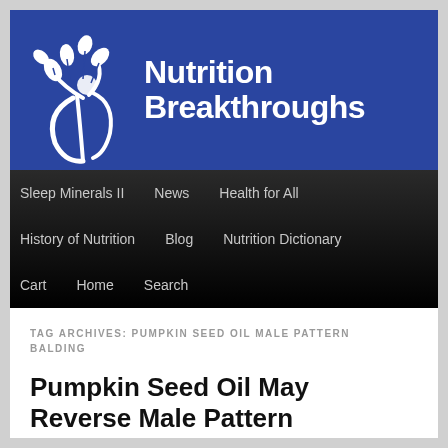[Figure (logo): Nutrition Breakthroughs logo: white figure with leaves on blue background with site name text]
Sleep Minerals II   News   Health for All   History of Nutrition   Blog   Nutrition Dictionary   Cart   Home   Search
TAG ARCHIVES: PUMPKIN SEED OIL MALE PATTERN BALDING
Pumpkin Seed Oil May Reverse Male Pattern